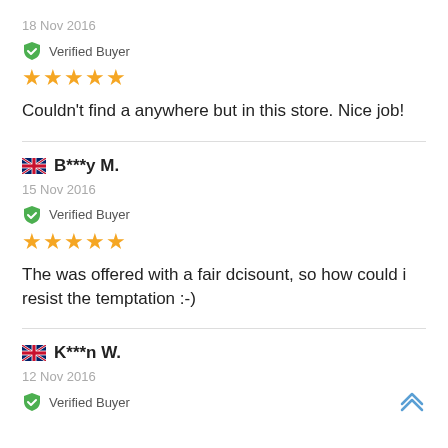18 Nov 2016
Verified Buyer
★★★★★
Couldn't find a anywhere but in this store. Nice job!
🇬🇧 B***y M.
15 Nov 2016
Verified Buyer
★★★★★
The was offered with a fair dcisount, so how could i resist the temptation :-)
🇬🇧 K***n W.
12 Nov 2016
Verified Buyer